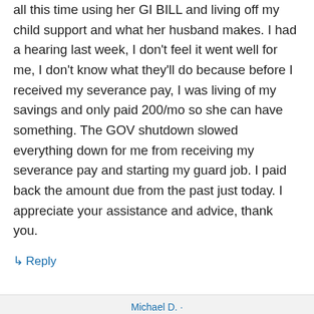all this time using her GI BILL and living off my child support and what her husband makes. I had a hearing last week, I don't feel it went well for me, I don't know what they'll do because before I received my severance pay, I was living of my savings and only paid 200/mo so she can have something. The GOV shutdown slowed everything down for me from receiving my severance pay and starting my guard job. I paid back the amount due from the past just today. I appreciate your assistance and advice, thank you.
↳ Reply